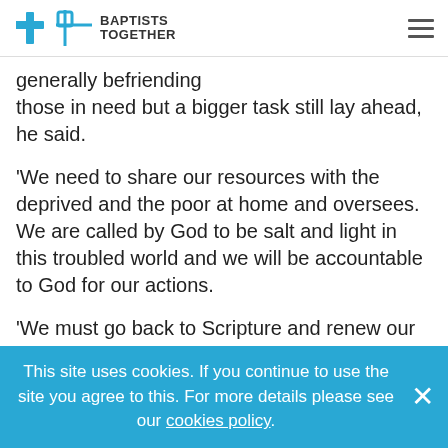BAPTISTS TOGETHER
generally befriending those in need but a bigger task still lay ahead, he said.
'We need to share our resources with the deprived and the poor at home and oversees. We are called by God to be salt and light in this troubled world and we will be accountable to God for our actions.
'We must go back to Scripture and renew our sense of God-centred mission in terms of providing practical, emotional and spiritual support to all we encounter who stand in need. But God has created new
This site uses cookies. If you continue to use the site you agree to this. For more details please see our cookies policy.